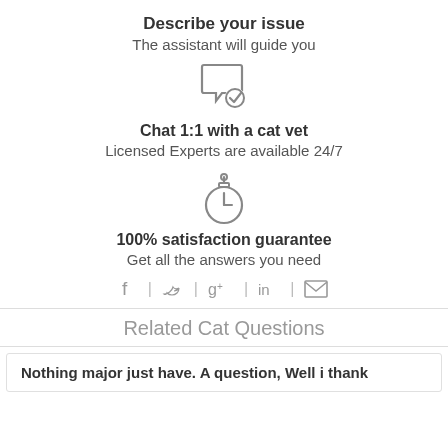Describe your issue
The assistant will guide you
[Figure (illustration): Chat bubble with checkmark icon]
Chat 1:1 with a cat vet
Licensed Experts are available 24/7
[Figure (illustration): Stopwatch/timer icon]
100% satisfaction guarantee
Get all the answers you need
[Figure (infographic): Social media share icons: Facebook, Twitter, Google+, LinkedIn, Email]
Related Cat Questions
Nothing major just have. A question, Well i thank